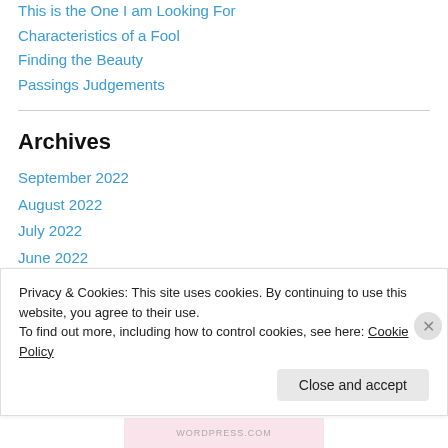This is the One I am Looking For
Characteristics of a Fool
Finding the Beauty
Passings Judgements
Archives
September 2022
August 2022
July 2022
June 2022
May 2022
April 2022
Privacy & Cookies: This site uses cookies. By continuing to use this website, you agree to their use.
To find out more, including how to control cookies, see here: Cookie Policy
Close and accept